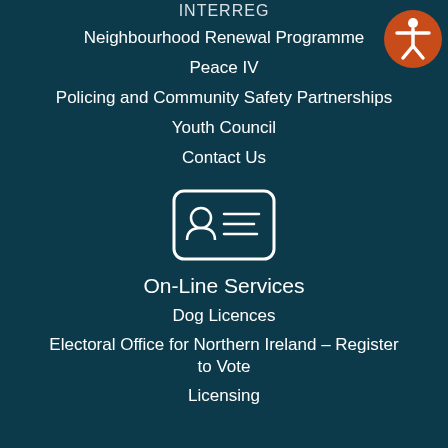INTERREG
Neighbourhood Renewal Programme
Peace IV
Policing and Community Safety Partnerships
Youth Council
Contact Us
[Figure (illustration): ID card icon with person silhouette and horizontal lines, white outline on dark teal background]
On-Line Services
Dog Licences
Electoral Office for Northern Ireland – Register to Vote
Licensing